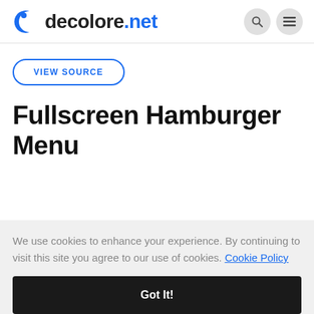decolore.net
VIEW SOURCE
Fullscreen Hamburger Menu
We use cookies to enhance your experience. By continuing to visit this site you agree to our use of cookies. Cookie Policy
Got It!